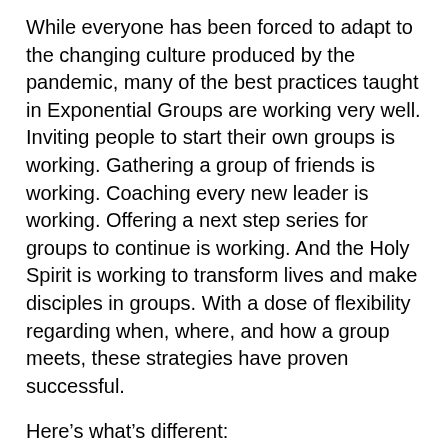While everyone has been forced to adapt to the changing culture produced by the pandemic, many of the best practices taught in Exponential Groups are working very well. Inviting people to start their own groups is working. Gathering a group of friends is working. Coaching every new leader is working. Offering a next step series for groups to continue is working. And the Holy Spirit is working to transform lives and make disciples in groups. With a dose of flexibility regarding when, where, and how a group meets, these strategies have proven successful.
Here’s what’s different:
1. People have re-evaluated their priorities.